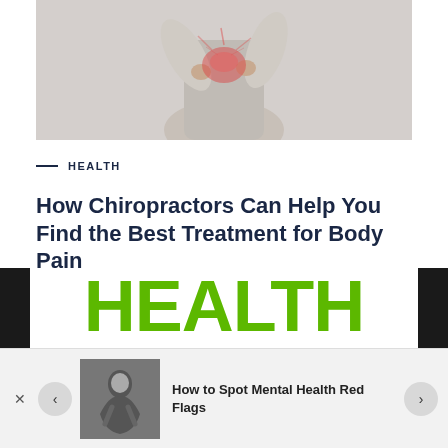[Figure (photo): Person holding their lower back in pain with red highlight on spine area, wearing grey shirt, white background]
— HEALTH
How Chiropractors Can Help You Find the Best Treatment for Body Pain
[Figure (logo): Health Blog Online logo — large green bold HEALTH text with BLOG ONLINE below in black, flanked by dark sidebar panels]
[Figure (screenshot): Notification/recommendation bar showing thumbnail of person with head bowed and text 'How to Spot Mental Health Red Flags' with navigation arrows]